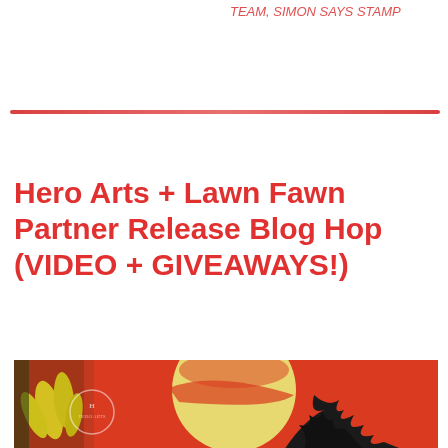TEAM, SIMON SAYS STAMP
Hero Arts + Lawn Fawn Partner Release Blog Hop (VIDEO + GIVEAWAYS!)
[Figure (photo): A decorative card scene featuring a bold red background with a large cream/yellow sun and a black silhouette tree, with yellow flowers on the left side. Hero Arts logo watermark visible.]